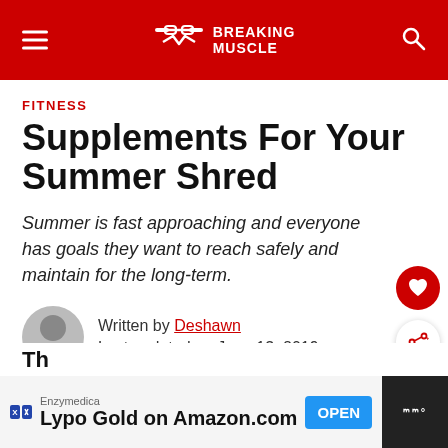Breaking Muscle
FITNESS
Supplements For Your Summer Shred
Summer is fast approaching and everyone has goals they want to reach safely and maintain for the long-term.
Written by Deshawn
Last updated on June 13, 2019
[Figure (other): Advertisement banner: Enzymedica Lypo Gold on Amazon.com with OPEN button]